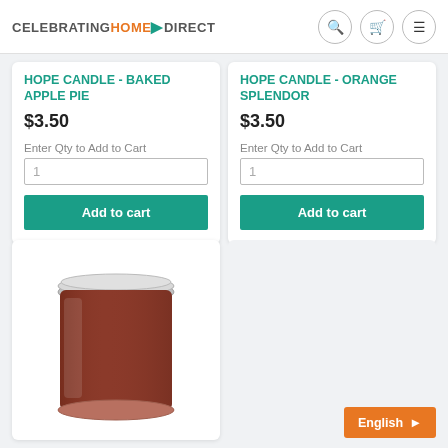CELEBRATING HOME DIRECT
HOPE CANDLE - BAKED APPLE PIE
$3.50
Enter Qty to Add to Cart
HOPE CANDLE - ORANGE SPLENDOR
$3.50
Enter Qty to Add to Cart
[Figure (photo): A small brown candle in a glass jar with silver lid]
English